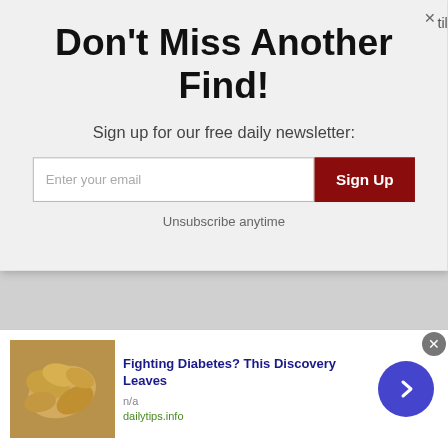Don't Miss Another Find!
Sign up for our free daily newsletter:
Enter your email
Sign Up
Unsubscribe anytime
cab chain drive Macks toodling along by the docks under the West Side Highway (when it still existed) down by my Pop's machine shop below Canal. They were built in the late 20s and early 30s and still going. Some even had those hard rubber wheels….running on the cobblestones.
[Figure (photo): Advertisement banner at bottom with cashew nuts image, text 'Fighting Diabetes? This Discovery Leaves', source 'dailytips.info', and arrow button]